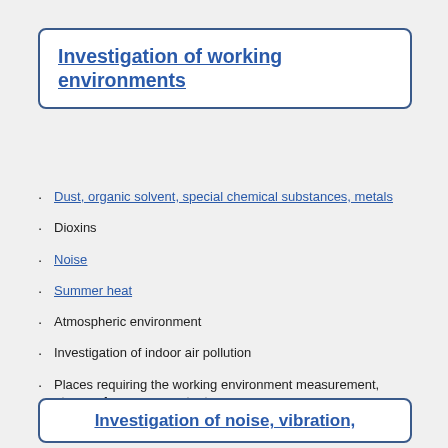Investigation of working environments
Dust, organic solvent, special chemical substances, metals
Dioxins
Noise
Summer heat
Atmospheric environment
Investigation of indoor air pollution
Places requiring the working environment measurement, types of measurement, etc.
Investigation of noise, vibration,